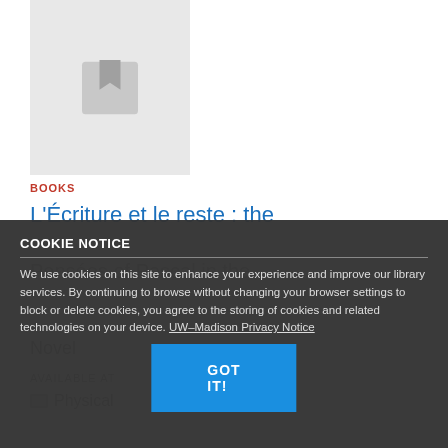[Figure (illustration): Book cover placeholder with a gray background and a bookmark/open book icon in the center]
BOOKS
L'Écriture et le reste : the
Pensées of Pascal in the
Novel
AVAILABLE AT
Physical
COOKIE NOTICE
We use cookies on this site to enhance your experience and improve our library services. By continuing to browse without changing your browser settings to block or delete cookies, you agree to the storing of cookies and related technologies on your device. UW–Madison Privacy Notice
GOT IT!